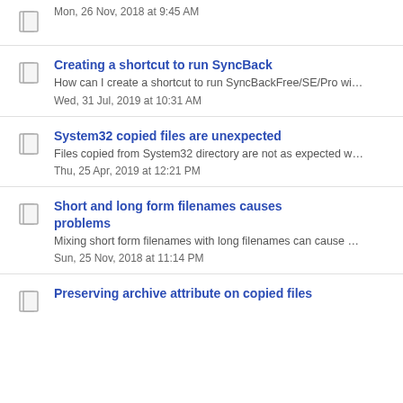Mon, 26 Nov, 2018 at 9:45 AM
Creating a shortcut to run SyncBack
How can I create a shortcut to run SyncBackFree/SE/Pro wi…
Wed, 31 Jul, 2019 at 10:31 AM
System32 copied files are unexpected
Files copied from System32 directory are not as expected w…
Thu, 25 Apr, 2019 at 12:21 PM
Short and long form filenames causes problems
Mixing short form filenames with long filenames can cause …
Sun, 25 Nov, 2018 at 11:14 PM
Preserving archive attribute on copied files